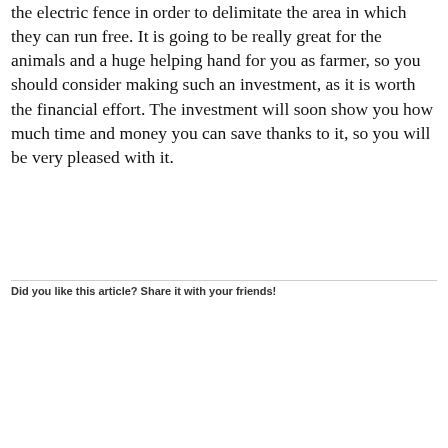the electric fence in order to delimitate the area in which they can run free. It is going to be really great for the animals and a huge helping hand for you as farmer, so you should consider making such an investment, as it is worth the financial effort. The investment will soon show you how much time and money you can save thanks to it, so you will be very pleased with it.
Did you like this article? Share it with your friends!
[Figure (other): Social share buttons: Facebook Like (0), Twitter Tweet, Pinterest Save]